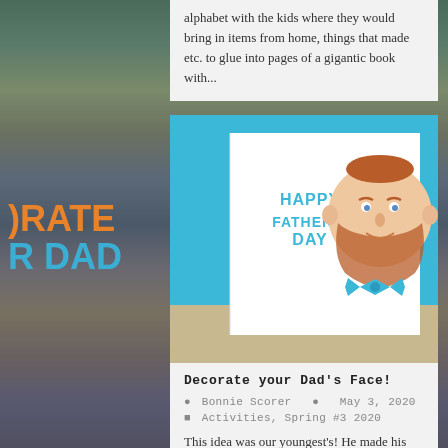alphabet with the kids where they would bring in items from home, things that made etc. to glue into pages of a gigantic book with...
[Figure (photo): A Father's Day greeting card showing a hand-drawn cartoon father's face with red/brown hair and beard, wearing a blue bow tie, against a teal/blue background. The card reads 'HAPPY FATHER'S DAY'. Left side shows partial text 'ORATE' and 'R DAD' in orange and teal colors.]
Decorate your Dad's Face!
Bonnie Scorer   May 3, 2020
Activities, Spring #3 2020
This idea was our youngest's! He made his dad's face for the alphabet book at school and thought that other children would enjoy making their dad's face for...